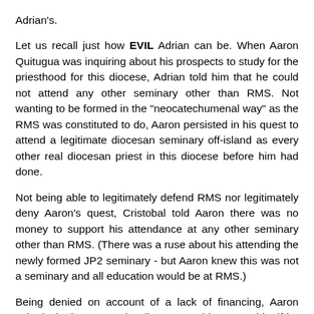Adrian's.
Let us recall just how EVIL Adrian can be. When Aaron Quitugua was inquiring about his prospects to study for the priesthood for this diocese, Adrian told him that he could not attend any other seminary other than RMS. Not wanting to be formed in the "neocatechumenal way" as the RMS was constituted to do, Aaron persisted in his quest to attend a legitimate diocesan seminary off-island as every other real diocesan priest in this diocese before him had done.
Not being able to legitimately defend RMS nor legitimately deny Aaron's quest, Cristobal told Aaron there was no money to support his attendance at any other seminary other than RMS. (There was a ruse about his attending the newly formed JP2 seminary - but Aaron knew this was not a seminary and all education would be at RMS.)
Being denied on account of a lack of financing, Aaron asked whether or not the diocese would sponsor him if he paid his own way. Adrian replied back: NO.